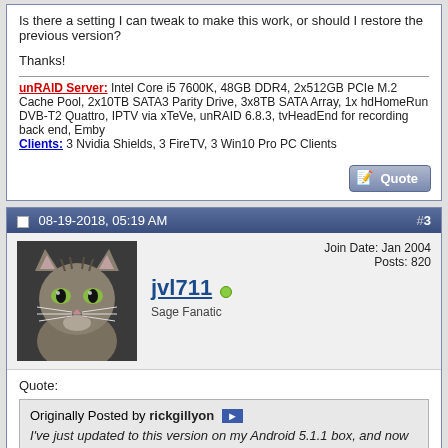Is there a setting I can tweak to make this work, or should I restore the previous version?

Thanks!
unRAID Server: Intel Core i5 7600K, 48GB DDR4, 2x512GB PCIe M.2 Cache Pool, 2x10TB SATA3 Parity Drive, 3x8TB SATA Array, 1x hdHomeRun DVB-T2 Quattro, IPTV via xTeVe, unRAID 6.8.3, tvHeadEnd for recording back end, Emby
Clients: 3 Nvidia Shields, 3 FireTV, 3 Win10 Pro PC Clients
[Figure (other): Quote button with pen/paper icon]
08-19-2018, 05:19 AM   #3
[Figure (photo): Avatar photo of a cat (tabby cat with green eyes)]
jvl711 (online)
Sage Fanatic
Join Date: Jan 2004
Posts: 820
Quote:
Originally Posted by rickgillyon
I've just updated to this version on my Android 5.1.1 box, and now in Sage some of my remote commands don't work. Such as: volume button used to just control the android volume, now does nothing; some commands learnt in Sage no longer work (e.g. I mapped F10 to stop).